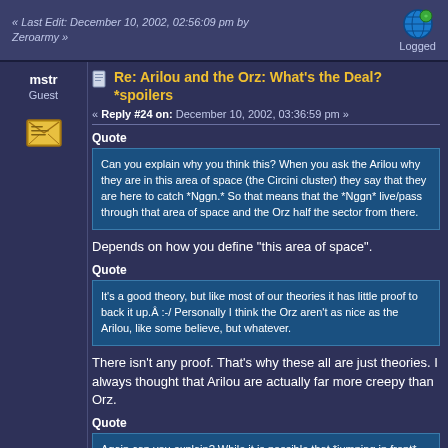« Last Edit: December 10, 2002, 02:56:09 pm by Zeroarmy »   Logged
mstr
Guest
Re: Arilou and the Orz: What's the Deal? *spoilers
« Reply #24 on: December 10, 2002, 03:36:59 pm »
Quote
Can you explain why you think this? When you ask the Arilou why they are in this area of space (the Circini cluster) they say that they are here to catch *Nggn.* So that means that the *Nggn* live/pass through that area of space and the Orz half the sector from there.
Depends on how you define "this area of space".
Quote
It's a good theory, but like most of our theories it has little proof to back it up.Â :-/ Personally I think the Orz aren't as nice as the Arilou, like some believe, but whatever.
There isn't any proof. That's why these all are just theories. I always thought that Arilou are actually far more creepy than Orz.
Quote
Again can you explain? While it is possible that *jumping in front* could mean to *jump in front* to catch them. I doubt the Orz would stand by and allow this (they're not really pushovers). Plus the Orz